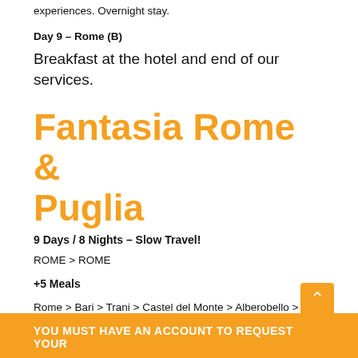experiences. Overnight stay.
Day 9 – Rome (B)
Breakfast at the hotel and end of our services.
Fantasia Rome & Puglia
9 Days / 8 Nights – Slow Travel!
ROME > ROME
+5 Meals
Rome > Bari > Trani > Castel del Monte > Alberobello > Matera > Locorotondo > Ostuni > Otranto > Lecce > Rome
YOU MUST HAVE AN ACCOUNT TO REQUEST YOUR